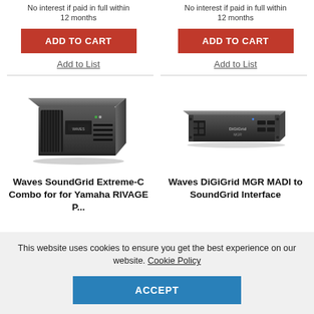No interest if paid in full within 12 months
No interest if paid in full within 12 months
ADD TO CART
ADD TO CART
Add to List
Add to List
[Figure (photo): Waves SoundGrid Extreme-C Combo product photo - black rack-mount audio processing unit]
[Figure (photo): Waves DiGiGrid MGR MADI to SoundGrid Interface product photo - black rack-mount unit]
Waves SoundGrid Extreme-C Combo for for Yamaha RIVAGE P...
Waves DiGiGrid MGR MADI to SoundGrid Interface
This website uses cookies to ensure you get the best experience on our website. Cookie Policy
ACCEPT